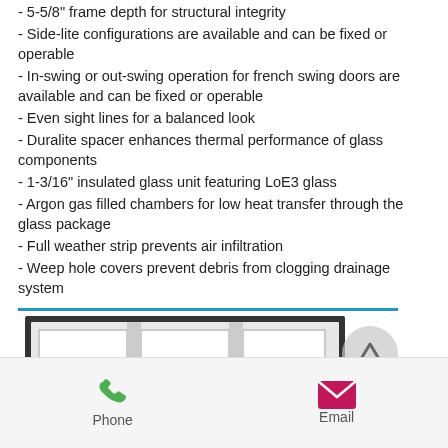- 5-5/8" frame depth for structural integrity
- Side-lite configurations are available and can be fixed or operable
- In-swing or out-swing operation for french swing doors are available and can be fixed or operable
- Even sight lines for a balanced look
- Duralite spacer enhances thermal performance of glass components
- 1-3/16" insulated glass unit featuring LoE3 glass
- Argon gas filled chambers for low heat transfer through the glass package
- Full weather strip prevents air infiltration
- Weep hole covers prevent debris from clogging drainage system
[Figure (photo): Front view of a sliding/french door unit with three panels in a white frame, dark border, shown from the front]
Phone   Email